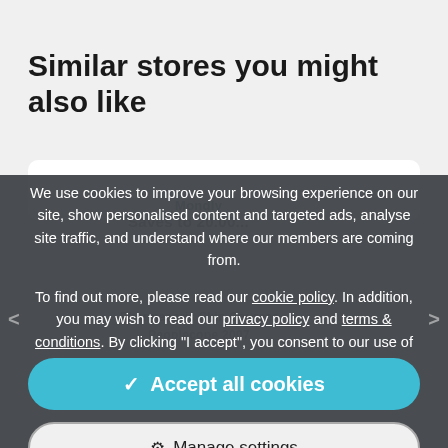Similar stores you might also like
We use cookies to improve your browsing experience on our site, show personalised content and targeted ads, analyse site traffic, and understand where our members are coming from.

To find out more, please read our cookie policy. In addition, you may wish to read our privacy policy and terms & conditions. By clicking "I accept", you consent to our use of cookies.
✓ Accept all cookies
⚙ Manage settings